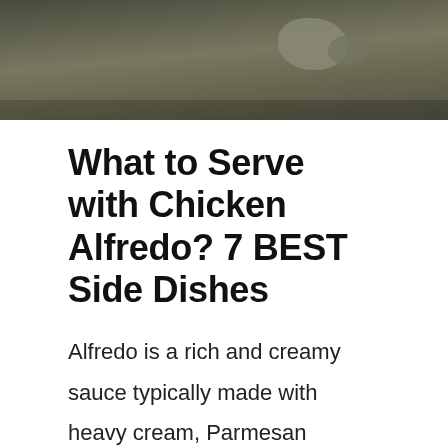[Figure (photo): Outdoor scene with grass and rocks, dark muted tones, appears to be a nature or animal photo cropped at the top of the page]
What to Serve with Chicken Alfredo? 7 BEST Side Dishes
Alfredo is a rich and creamy sauce typically made with heavy cream, Parmesan cheese, butter, garlic, and pepper. It is also sometimes made with heavy cream and Romano or Asiago